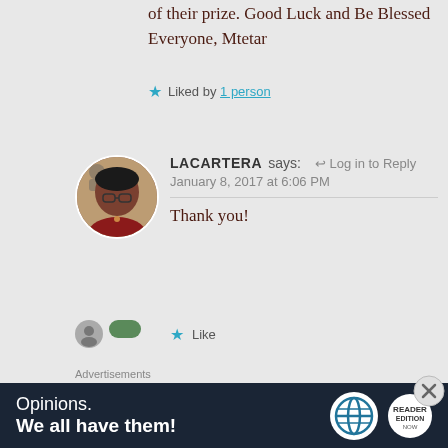of their prize. Good Luck and Be Blessed Everyone, Mtetar
★ Liked by 1 person
LACARTERA says:   ↩ Log in to Reply
January 8, 2017 at 6:06 PM
Thank you!
★ Like
Advertisements
[Figure (other): Advertisement banner: dark navy background with text 'Opinions. We all have them!' and WordPress logo and another circular logo on the right.]